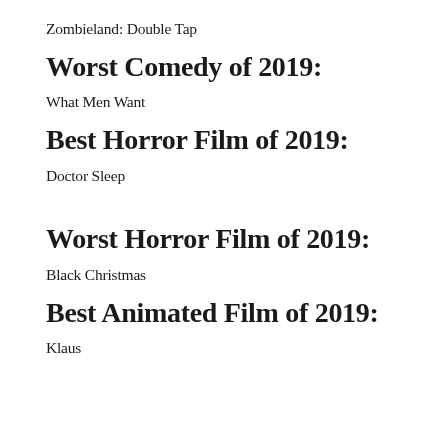Zombieland: Double Tap
Worst Comedy of 2019:
What Men Want
Best Horror Film of 2019:
Doctor Sleep
Worst Horror Film of 2019:
Black Christmas
Best Animated Film of 2019:
Klaus